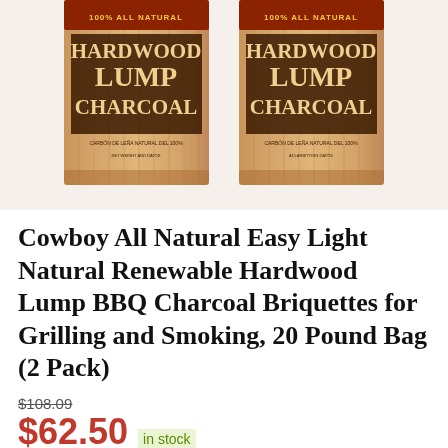[Figure (photo): Two bags of Cowboy 100% All Natural Hardwood Lump Charcoal product packages shown side by side on a light background.]
Cowboy All Natural Easy Light Natural Renewable Hardwood Lump BBQ Charcoal Briquettes for Grilling and Smoking, 20 Pound Bag (2 Pack)
$108.09
$62.50 in stock
2 new from $62.49
BUY NOW